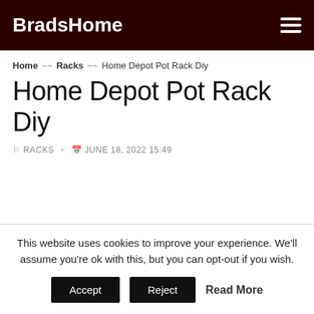BradsHome
Home > Racks > Home Depot Pot Rack Diy
Home Depot Pot Rack Diy
RACKS · JUNE 18, 2022 15:49
This website uses cookies to improve your experience. We'll assume you're ok with this, but you can opt-out if you wish. Accept Reject Read More